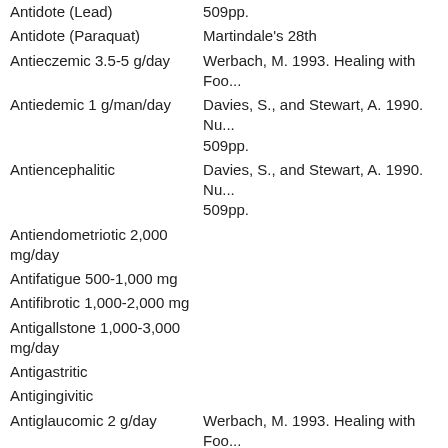| Activity/Dosage | Reference |
| --- | --- |
| Antidote (Lead) | 509pp. |
| Antidote (Paraquat) | Martindale's 28th |
| Antieczemic 3.5-5 g/day | Werbach, M. 1993. Healing with Foo... |
| Antiedemic 1 g/man/day | Davies, S., and Stewart, A. 1990. Nu... 509pp. |
| Antiencephalitic | Davies, S., and Stewart, A. 1990. Nu... 509pp. |
| Antiendometriotic 2,000 mg/day |  |
| Antifatigue 500-1,000 mg |  |
| Antifibrotic 1,000-2,000 mg |  |
| Antigallstone 1,000-3,000 mg/day |  |
| Antigastritic |  |
| Antigingivitic |  |
| Antiglaucomic 2 g/day | Werbach, M. 1993. Healing with Foo... |
| Antihangover 1,000 mg |  |
| Antihemorrhagic 1 g/man/day | Davies, S., and Stewart, A. 1990. Nu... 509pp. |
| Antihepatitic 2-6 g/man/day | Davies, S., and Stewart, A. 1990. Nu... 509pp. |
| Antihepatotoxic | Economic & Medicinal Plant Resear... |